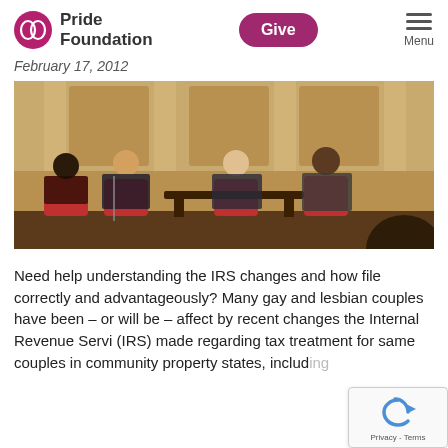Pride Foundation | Give | Menu
February 17, 2012
[Figure (photo): Panel discussion on stage with four people seated in red chairs, in a formal auditorium setting with columns in the background]
Need help understanding the IRS changes and how file correctly and advantageously? Many gay and lesbian couples have been – or will be – affect by recent changes the Internal Revenue Servi (IRS) made regarding tax treatment for same couples in community property states, including